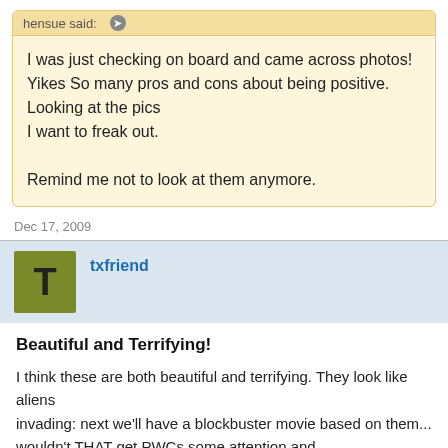hensue said:
I was just checking on board and came across photos! Yikes So many pros and cons about being positive. Looking at the pics I want to freak out.

Remind me not to look at them anymore.
Dec 17, 2009
txfriend
Beautiful and Terrifying!
I think these are both beautiful and terrifying. They look like aliens invading: next we'll have a blockbuster movie based on them... wouldn't THAT get PWCs some attention and